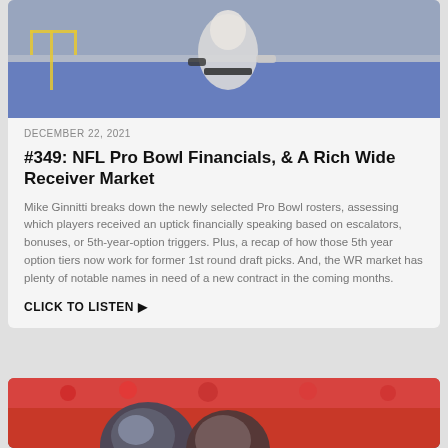[Figure (photo): NFL player in white uniform on football field with crowd in background, partially cropped at top]
DECEMBER 22, 2021
#349: NFL Pro Bowl Financials, & A Rich Wide Receiver Market
Mike Ginnitti breaks down the newly selected Pro Bowl rosters, assessing which players received an uptick financially speaking based on escalators, bonuses, or 5th-year-option triggers. Plus, a recap of how those 5th year option tiers now work for former 1st round draft picks. And, the WR market has plenty of notable names in need of a new contract in the coming months.
CLICK TO LISTEN ▶
[Figure (photo): Two NFL players wearing helmets, appears to be Tampa Bay Buccaneers, with red-clad crowd in background]